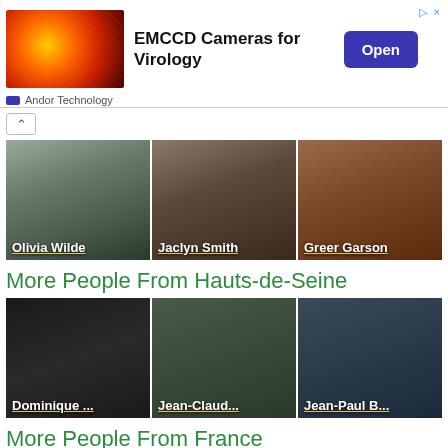[Figure (photo): Advertisement banner: EMCCD Cameras for Virology by Andor Technology, with orange glowing image and Open button]
[Figure (photo): Olivia Wilde portrait photo with name overlay]
[Figure (photo): Jaclyn Smith portrait photo with name overlay]
[Figure (photo): Greer Garson portrait photo with name overlay]
More People From Hauts-de-Seine
[Figure (photo): Dominique ... portrait photo with name overlay]
[Figure (photo): Jean-Claud... portrait photo with name overlay]
[Figure (photo): Jean-Paul B... portrait photo with name overlay]
More People From France
[Figure (photo): Two partial portrait photos at bottom]
▷ ×